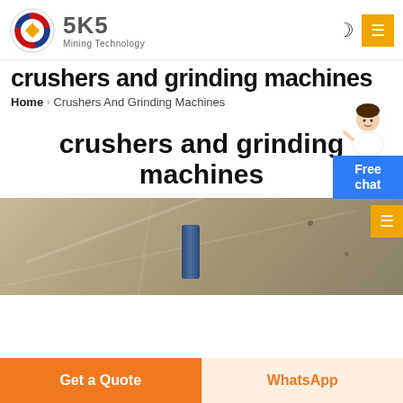[Figure (logo): SKS Mining Technology logo with circular red/blue/yellow icon and bold SKS text]
crushers and grinding machines
Home › Crushers And Grinding Machines
[Figure (illustration): Customer service person illustration with Free chat button]
crushers and grinding machines
[Figure (photo): Photo of industrial crushing/grinding machinery interior]
Get a Quote
WhatsApp